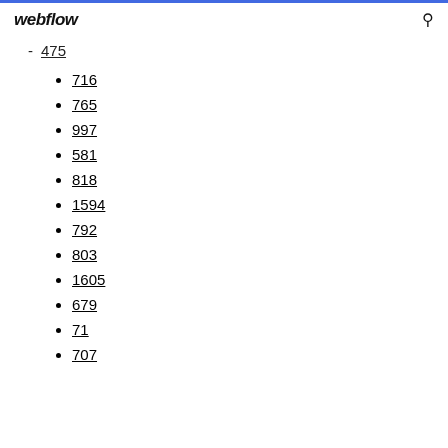webflow
475
716
765
997
581
818
1594
792
803
1605
679
71
707